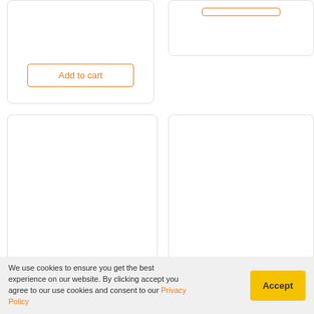[Figure (screenshot): Partial product card top-left showing an Add to cart button with orange border]
[Figure (screenshot): Partial product card top-right with orange-bordered button partially visible]
[Figure (screenshot): Product card for Michael Kors Access MKGo MKT5111 with empty image area]
Michael Kors Access MKGo MKT5111
[Figure (screenshot): Product card for Brennenstuhl 1209920 25m Cable Drum with empty image area]
Brennenstuhl 1209920 25m Cable Drum
We use cookies to ensure you get the best experience on our website. By clicking accept you agree to our use cookies and consent to our Privacy Policy